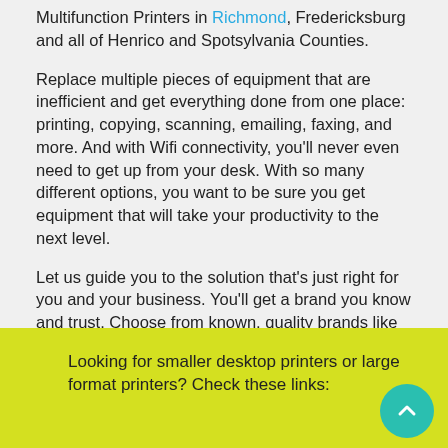Multifunction Printers in Richmond, Fredericksburg and all of Henrico and Spotsylvania Counties.
Replace multiple pieces of equipment that are inefficient and get everything done from one place: printing, copying, scanning, emailing, faxing, and more. And with Wifi connectivity, you'll never even need to get up from your desk. With so many different options, you want to be sure you get equipment that will take your productivity to the next level.
Let us guide you to the solution that's just right for you and your business. You'll get a brand you know and trust. Choose from known, quality brands like Sharp and Lexmark:
Looking for smaller desktop printers or large format printers? Check these links: